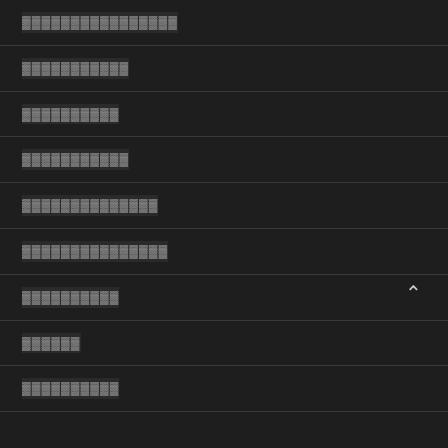▓▓▓▓▓▓▓▓▓▓▓▓▓▓▓▓
▓▓▓▓▓▓▓▓▓▓▓
▓▓▓▓▓▓▓▓▓▓
▓▓▓▓▓▓▓▓▓▓▓
▓▓▓▓▓▓▓▓▓▓▓▓▓▓
▓▓▓▓▓▓▓▓▓▓▓▓▓▓▓
▓▓▓▓▓▓▓▓▓▓
▓▓▓▓▓▓
▓▓▓▓▓▓▓▓▓▓